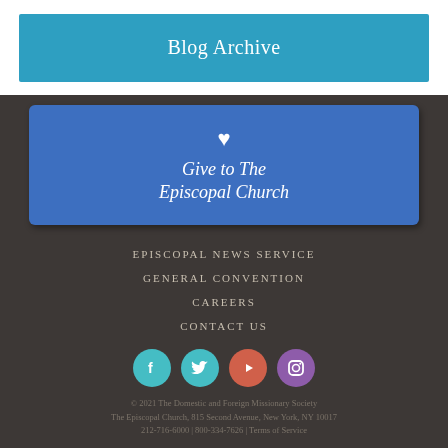Blog Archive
[Figure (infographic): Blue banner with heart icon and text: Give to The Episcopal Church]
EPISCOPAL NEWS SERVICE
GENERAL CONVENTION
CAREERS
CONTACT US
[Figure (infographic): Social media icons: Facebook (teal), Twitter (teal), YouTube (red-orange), Instagram (purple)]
© 2021 The Domestic and Foreign Missionary Society
The Episcopal Church, 815 Second Avenue, New York, NY 10017
212-716-6000 | 800-334-7626 | Terms of Service